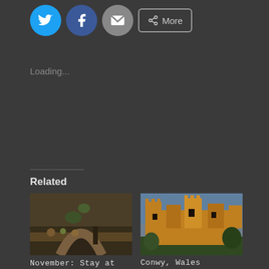[Figure (screenshot): Social share buttons: Twitter (blue circle), Facebook (blue circle), Email (grey circle), and a More button with share icon]
Loading...
Related
[Figure (photo): Photo of a rustic kitchen or marketplace with stone arch, plants, pottery and food items on a table]
November: Stay at Home
November 7, 2016
In "Conwy"
[Figure (photo): Photo of Conwy Castle in Wales, a large medieval stone castle with round towers lit in golden light]
Conwy, Wales
April 28, 2014
In "Conwy"
[Figure (photo): Partial photo showing what appears to be a white interior room with decorative ceiling molding and a dark doorway or column]